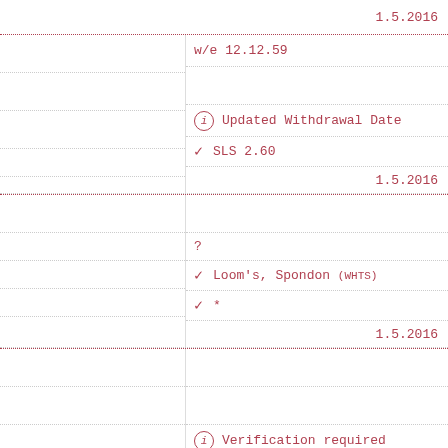1.5.2016
w/e 12.12.59
Updated Withdrawal Date
SLS 2.60
1.5.2016
?
Loom's, Spondon (WHTS)
*
1.5.2016
Verification required